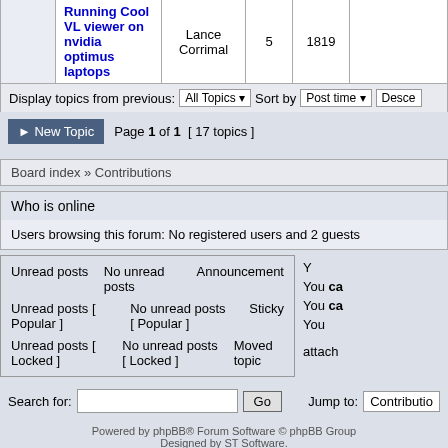| Topic | Author | Replies | Views | Last post |
| --- | --- | --- | --- | --- |
| Running Cool VL viewer on nvidia optimus laptops | Lance Corrimal | 5 | 1819 |  |
Display topics from previous: All Topics ▼  Sort by  Post time ▼  Desce
▶ New Topic   Page 1 of 1  [ 17 topics ]
Board index » Contributions
Who is online
Users browsing this forum: No registered users and 2 guests
Unread posts | No unread posts | Announcement
Unread posts [ Popular ] | No unread posts [ Popular ] | Sticky
Unread posts [ Locked ] | No unread posts [ Locked ] | Moved topic
Y
You ca
You ca
You
attach
Search for:  [input]  Go   Jump to: Contribution
Powered by phpBB® Forum Software © phpBB Group
Designed by ST Software.